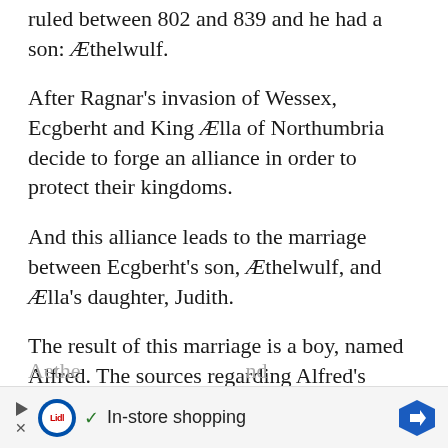ruled between 802 and 839 and he had a son: Æthelwulf.
After Ragnar's invasion of Wessex, Ecgberht and King Ælla of Northumbria decide to forge an alliance in order to protect their kingdoms.
And this alliance leads to the marriage between Ecgberht's son, Æthelwulf, and Ælla's daughter, Judith.
The result of this marriage is a boy, named Alfred. The sources regarding Alfred's parents; however, are quite confusing.
In the TV series, Judith falls in love with
Aethe... and
[Figure (infographic): Lidl advertisement banner: In-store shopping with Lidl logo, checkmark, and navigation arrow]